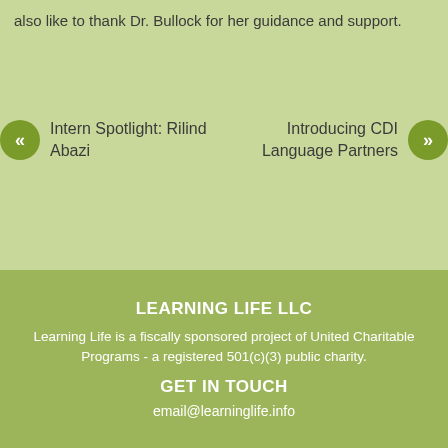also like to thank Dr. Bullock for her guidance and support.
« Intern Spotlight: Rilind Abazi
Introducing CDI Language Partners »
LEARNING LIFE LLC
Learning Life is a fiscally sponsored project of United Charitable Programs - a registered 501(c)(3) public charity.
GET IN TOUCH
email@learninglife.info